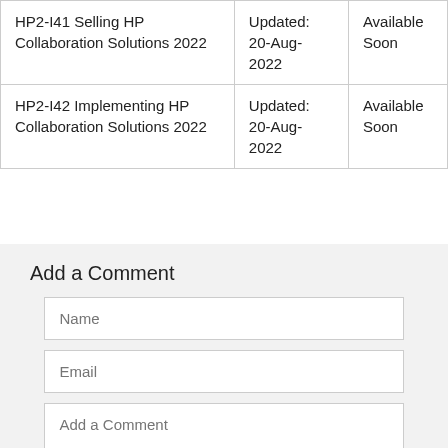| HP2-I41 Selling HP Collaboration Solutions 2022 | Updated: 20-Aug-2022 | Available Soon |
| HP2-I42 Implementing HP Collaboration Solutions 2022 | Updated: 20-Aug-2022 | Available Soon |
Add a Comment